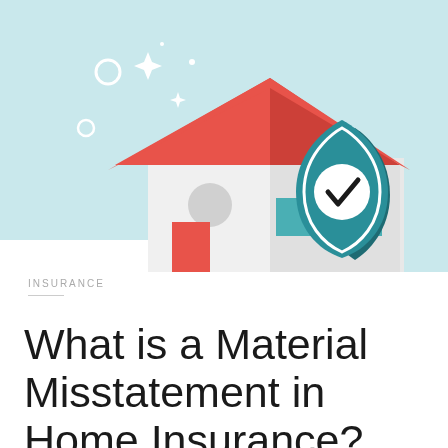[Figure (illustration): Flat style illustration of a house with a red roof and red door, teal garage windows, gray walls, with a teal shield bearing a white checkmark overlapping the right side of the house, on a light blue background with decorative white sparkle and circle elements]
INSURANCE
What is a Material Misstatement in Home Insurance?